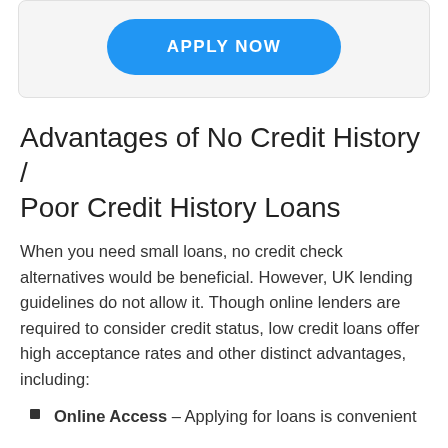[Figure (other): Blue rounded button with white text reading APPLY NOW on a light grey card background]
Advantages of No Credit History / Poor Credit History Loans
When you need small loans, no credit check alternatives would be beneficial. However, UK lending guidelines do not allow it. Though online lenders are required to consider credit status, low credit loans offer high acceptance rates and other distinct advantages, including:
Online Access – Applying for loans is convenient